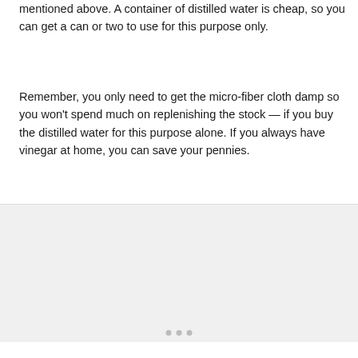mentioned above. A container of distilled water is cheap, so you can get a can or two to use for this purpose only.
Remember, you only need to get the micro-fiber cloth damp so you won't spend much on replenishing the stock — if you buy the distilled water for this purpose alone. If you always have vinegar at home, you can save your pennies.
[Figure (photo): Gray placeholder image area with navigation dots at bottom]